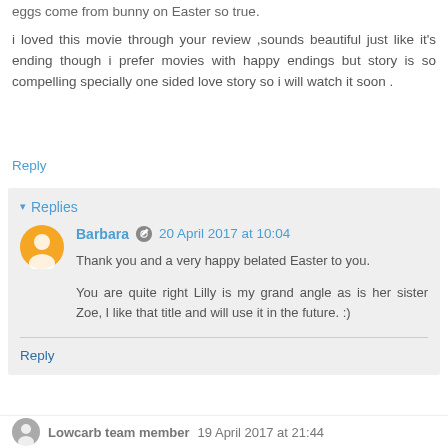eggs come from bunny on Easter so true.
i loved this movie through your review ,sounds beautiful just like it's ending though i prefer movies with happy endings but story is so compelling specially one sided love story so i will watch it soon .
Reply
Replies
Barbara  20 April 2017 at 10:04
Thank you and a very happy belated Easter to you.

You are quite right Lilly is my grand angle as is her sister Zoe, I like that title and will use it in the future. :)
Reply
Lowcarb team member  19 April 2017 at 21:44